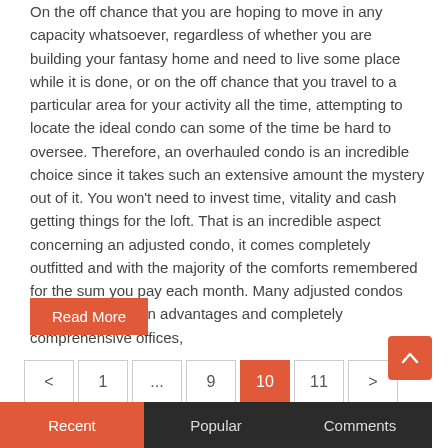On the off chance that you are hoping to move in any capacity whatsoever, regardless of whether you are building your fantasy home and need to live some place while it is done, or on the off chance that you travel to a particular area for your activity all the time, attempting to locate the ideal condo can some of the time be hard to oversee. Therefore, an overhauled condo is an incredible choice since it takes such an extensive amount the mystery out of it. You won't need to invest time, vitality and cash getting things for the loft. That is an incredible aspect concerning an adjusted condo, it comes completely outfitted and with the majority of the comforts remembered for the sum you pay each month. Many adjusted condos accompany certain advantages and completely comprehensive offices,
Read More
< 1 ... 9 10 11 >
[Figure (other): Back to top button (orange rounded square with upward chevron arrow)]
Recent | Popular | Comments